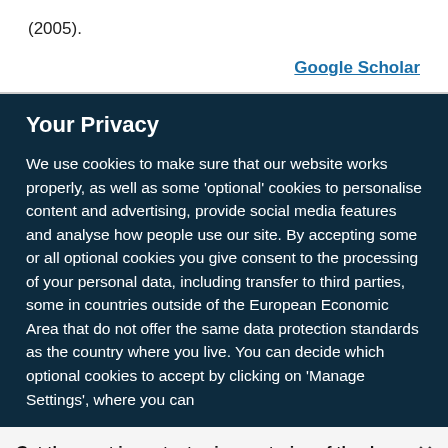(2005).
Google Scholar
Your Privacy
We use cookies to make sure that our website works properly, as well as some ‘optional’ cookies to personalise content and advertising, provide social media features and analyse how people use our site. By accepting some or all optional cookies you give consent to the processing of your personal data, including transfer to third parties, some in countries outside of the European Economic Area that do not offer the same data protection standards as the country where you live. You can decide which optional cookies to accept by clicking on ‘Manage Settings’, where you can
Get the most important science stories of the day, free in your inbox.
Sign up for Nature Briefing